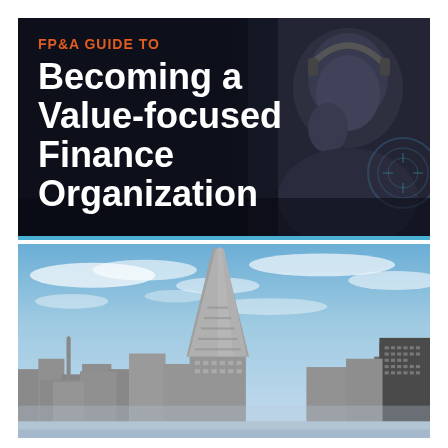[Figure (photo): Dark-toned photo of a person wearing a headset and talking on a phone, with digital/tech overlay graphics in a dark blue/grey environment. Text overlay reads 'FP&A GUIDE TO' in orange and 'Becoming a Value-focused Finance Organization' in white bold text.]
[Figure (photo): Cityscape photo of San Francisco skyline featuring the Transamerica Pyramid and other skyscrapers against a blue sky with wispy clouds.]